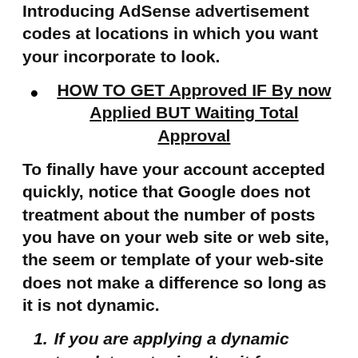Introducing AdSense advertisement codes at locations in which you want your incorporate to look.
HOW TO GET Approved IF By now Applied BUT Waiting Total Approval
To finally have your account accepted quickly, notice that Google does not treatment about the number of posts you have on your web site or web site, the seem or template of your web-site does not make a difference so long as it is not dynamic.
If you are applying a dynamic template or topic, alter it for a improved static template, it will get your web-site a improved seem and